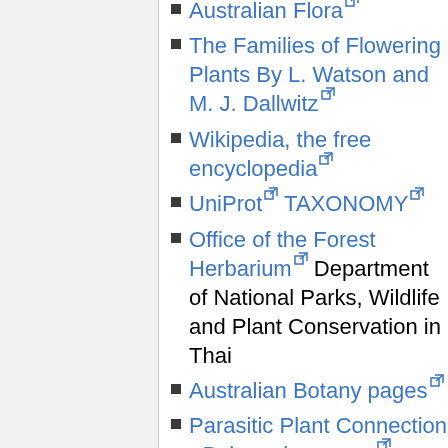Australian Flora [external link]
The Families of Flowering Plants By L. Watson and M. J. Dallwitz [external link]
Wikipedia, the free encyclopedia [external link]
UniProt [external link] TAXONOMY [external link]
Office of the Forest Herbarium [external link] Department of National Parks, Wildlife and Plant Conservation in Thai
Australian Botany pages [external link]
Parasitic Plant Connection - Balanophoraceae [external link]
The Gymnosperm